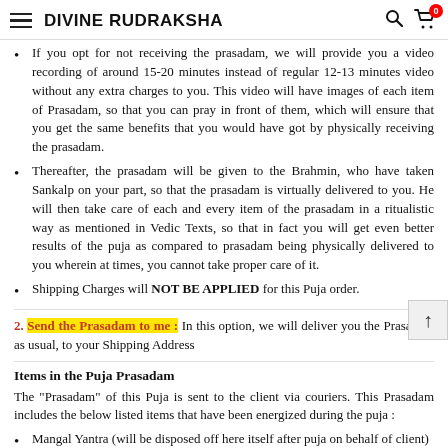DIVINE RUDRAKSHA
If you opt for not receiving the prasadam, we will provide you a video recording of around 15-20 minutes instead of regular 12-13 minutes video without any extra charges to you. This video will have images of each item of Prasadam, so that you can pray in front of them, which will ensure that you get the same benefits that you would have got by physically receiving the prasadam.
Thereafter, the prasadam will be given to the Brahmin, who have taken Sankalp on your part, so that the prasadam is virtually delivered to you. He will then take care of each and every item of the prasadam in a ritualistic way as mentioned in Vedic Texts, so that in fact you will get even better results of the puja as compared to prasadam being physically delivered to you wherein at times, you cannot take proper care of it.
Shipping Charges will NOT BE APPLIED for this Puja order.
2. Send the Prasadam to me : In this option, we will deliver you the Prasadam as usual, to your Shipping Address
Items in the Puja Prasadam
The "Prasadam" of this Puja is sent to the client via couriers. This Prasadam includes the below listed items that have been energized during the puja :
Mangal Yantra (will be disposed off here itself after puja on behalf of client)